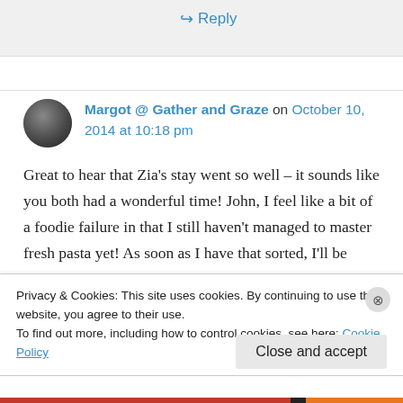↪ Reply
Margot @ Gather and Graze on October 10, 2014 at 10:18 pm
Great to hear that Zia's stay went so well – it sounds like you both had a wonderful time! John, I feel like a bit of a foodie failure in that I still haven't managed to master fresh pasta yet! As soon as I have that sorted, I'll be delighted to try your roast duck ravioli – it sounds amazing! 🙂
Privacy & Cookies: This site uses cookies. By continuing to use this website, you agree to their use.
To find out more, including how to control cookies, see here: Cookie Policy
Close and accept